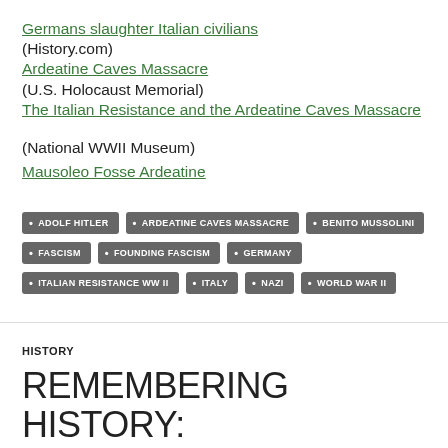Germans slaughter Italian civilians (History.com)
Ardeatine Caves Massacre (U.S. Holocaust Memorial)
The Italian Resistance and the Ardeatine Caves Massacre (National WWII Museum)
Mausoleo Fosse Ardeatine
ADOLF HITLER • ARDEATINE CAVES MASSACRE • BENITO MUSSOLINI • FASCISM • FOUNDING FASCISM • GERMANY • ITALIAN RESISTANCE WW II • ITALY • NAZI • WORLD WAR II
HISTORY
REMEMBERING HISTORY: GERMANY AND ITALY SIGN PACT OF STEEL (22 MAY